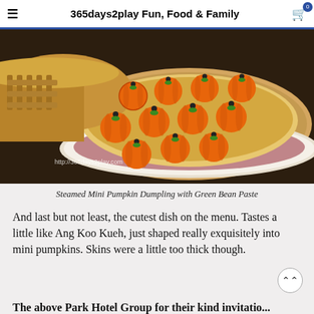365days2play Fun, Food & Family
[Figure (photo): Steamed mini pumpkin-shaped dumplings arranged in a bamboo steamer on a white and red-rimmed plate, photographed from above. The dumplings are bright orange with green and black stem decorations. Watermark reads http://365days2play.com]
Steamed Mini Pumpkin Dumpling with Green Bean Paste
And last but not least, the cutest dish on the menu. Tastes a little like Ang Koo Kueh, just shaped really exquisitely into mini pumpkins. Skins were a little too thick though.
The above Park Hotel Group for their kind invitation...